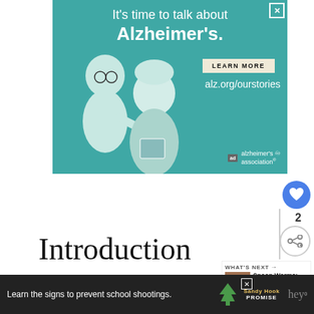[Figure (illustration): Alzheimer's Association advertisement with teal background showing two illustrated figures (an elderly man with glasses and a younger person), text 'It’s time to talk about Alzheimer’s.' with LEARN MORE button and alz.org/ourstories URL, Alzheimer's association logo with ad badge]
Introduction
[Figure (infographic): WHAT'S NEXT -> Spoon Worms: The Wonder... widget with thumbnail image]
Entoprocts, sometimes called
[Figure (illustration): Bottom banner advertisement: Learn the signs to prevent school shootings. Sandy Hook Promise logo]